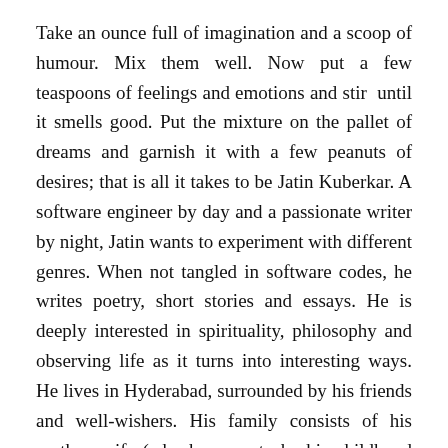Take an ounce full of imagination and a scoop of humour. Mix them well. Now put a few teaspoons of feelings and emotions and stir until it smells good. Put the mixture on the pallet of dreams and garnish it with a few peanuts of desires; that is all it takes to be Jatin Kuberkar. A software engineer by day and a passionate writer by night, Jatin wants to experiment with different genres. When not tangled in software codes, he writes poetry, short stories and essays. He is deeply interested in spirituality, philosophy and observing life as it turns into interesting ways. He lives in Hyderabad, surrounded by his friends and well-wishers. His family consists of his mother, wife (who happens to be his childhood love) and his son, Arya. Jatin can be reached at: itsjatink@gmail.com. Know him more Behind the Book.
Me thinks
This is the second time I am reading the author Jatin